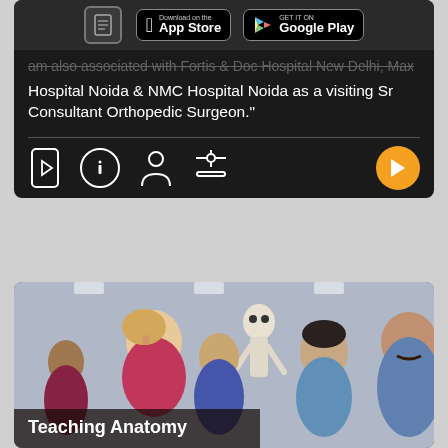Download on the App Store | GET IT ON Google Play
am also associated with Fortis & Dos Hospital New Delhi, Max Hospital Noida & NMC Hospital Noida as a visiting Sr Consultant Orthopedic Surgeon."
[Figure (screenshot): Bottom navigation icon bar with phone, info, person, and settings icons, and an orange play button on the right]
[Figure (photo): Anatomy teaching session photo with students and instructor examining a skeleton model, with overlay text 'Teaching Anatomy']